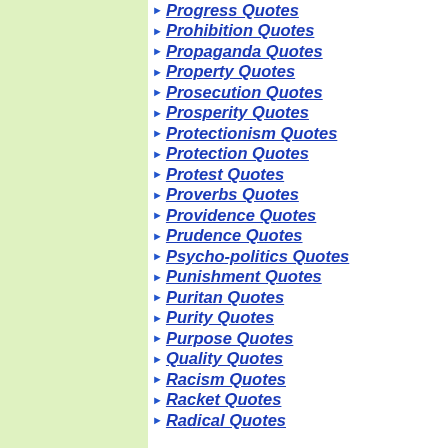Progress Quotes
Prohibition Quotes
Propaganda Quotes
Property Quotes
Prosecution Quotes
Prosperity Quotes
Protectionism Quotes
Protection Quotes
Protest Quotes
Proverbs Quotes
Providence Quotes
Prudence Quotes
Psycho-politics Quotes
Punishment Quotes
Puritan Quotes
Purity Quotes
Purpose Quotes
Quality Quotes
Racism Quotes
Racket Quotes
Radical Quotes